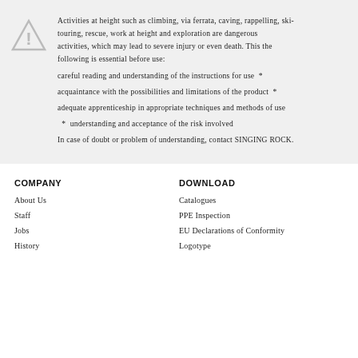Activities at height such as climbing, via ferrata, caving, rappelling, ski-touring, rescue, work at height and exploration are dangerous activities, which may lead to severe injury or even death. This the following is essential before use: careful reading and understanding of the instructions for use * acquaintance with the possibilities and limitations of the product * adequate apprenticeship in appropriate techniques and methods of use * understanding and acceptance of the risk involved In case of doubt or problem of understanding, contact SINGING ROCK.
COMPANY
DOWNLOAD
About Us
Staff
Jobs
History
Catalogues
PPE Inspection
EU Declarations of Conformity
Logotype